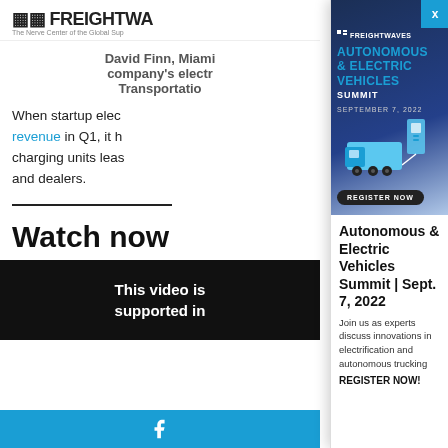FREIGHTWAVES - The Nerve Center of the Global Supply Chain
David Finn, Miami ... company's electr... Transportation...
When startup elec... revenue in Q1, it h... charging units leas... and dealers.
Watch now
This video is supported in...
[Figure (logo): FreightWaves logo with tagline: The Nerve Center of the Global Supply Chain]
[Figure (advertisement): FreightWaves Autonomous & Electric Vehicles Summit advertisement. September 7, 2022. Register Now button. Blue electric truck illustration.]
Autonomous & Electric Vehicles Summit | Sept. 7, 2022
Join us as experts discuss innovations in electrification and autonomous trucking REGISTER NOW!